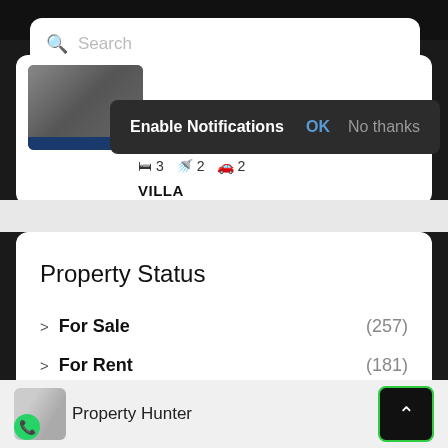[Figure (screenshot): Mobile app screenshot showing a search bar at top with a notification popup 'Enable Notifications' with OK and No thanks buttons]
Search
Enable Notifications   OK   No thanks
🛏 3   🚿 2   🚗 2
VILLA
Property Status
> For Sale  (257)
> For Rent  (181)
Property Hunter